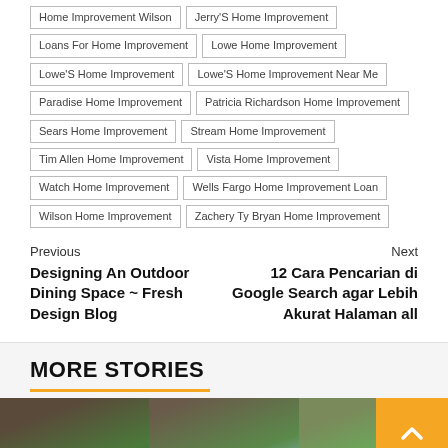Home Improvement Wilson
Jerry'S Home Improvement
Loans For Home Improvement
Lowe Home Improvement
Lowe'S Home Improvement
Lowe'S Home Improvement Near Me
Paradise Home Improvement
Patricia Richardson Home Improvement
Sears Home Improvement
Stream Home Improvement
Tim Allen Home Improvement
Vista Home Improvement
Watch Home Improvement
Wells Fargo Home Improvement Loan
Wilson Home Improvement
Zachery Ty Bryan Home Improvement
Previous
Designing An Outdoor Dining Space ~ Fresh Design Blog
Next
12 Cara Pencarian di Google Search agar Lebih Akurat Halaman all
MORE STORIES
[Figure (photo): Three photo segments showing trees with green foliage against sky, with a gold/yellow back-to-top button (chevron up arrow) overlaid on the right side]